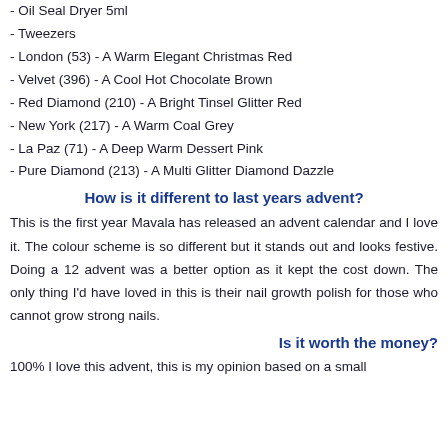- Oil Seal Dryer 5ml
- Tweezers
- London (53) - A Warm Elegant Christmas Red
- Velvet (396) - A Cool Hot Chocolate Brown
- Red Diamond (210) - A Bright Tinsel Glitter Red
- New York (217) - A Warm Coal Grey
- La Paz (71) - A Deep Warm Dessert Pink
- Pure Diamond (213) - A Multi Glitter Diamond Dazzle
How is it different to last years advent?
This is the first year Mavala has released an advent calendar and I love it. The colour scheme is so different but it stands out and looks festive. Doing a 12 advent was a better option as it kept the cost down. The only thing I'd have loved in this is their nail growth polish for those who cannot grow strong nails.
Is it worth the money?
100% I love this advent, this is my opinion based on a small